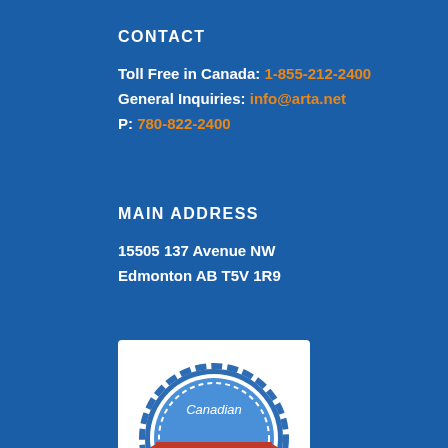CONTACT
Toll Free in Canada: 1-855-212-2400
General Inquiries: info@arta.net
P: 780-822-2400
MAIN ADDRESS
15505 137 Avenue NW
Edmonton AB T5V 1R9
[Figure (logo): Canadian Nonprofit Employer of Choice 2020 badge/seal with blue gear-like border, red ribbon banner, and a heart/people logo at the bottom]